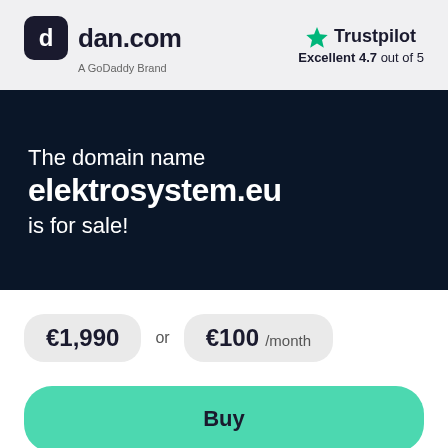[Figure (logo): dan.com logo with rounded square icon and text 'dan.com', subtitle 'A GoDaddy Brand']
[Figure (logo): Trustpilot logo with green star and text 'Trustpilot', subtitle 'Excellent 4.7 out of 5']
The domain name elektrosystem.eu is for sale!
€1,990 or €100 /month
Buy